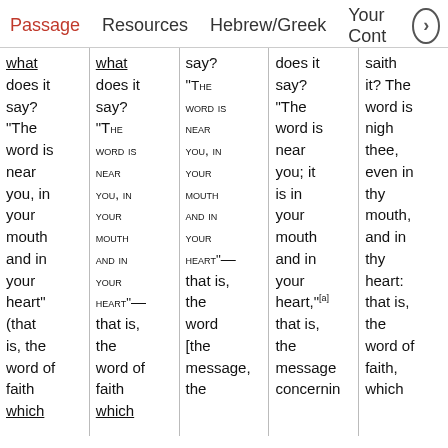Passage | Resources | Hebrew/Greek | Your Cont >
what does it say? "The word is near you, in your mouth and in your heart" (that is, the word of faith which
what does it say? "The WORD IS NEAR YOU, IN YOUR MOUTH AND IN YOUR HEART"— that is, the word of faith which
say? "THE WORD IS NEAR YOU, IN YOUR MOUTH AND IN YOUR HEART"— that is, the word [the message, the
does it say? "The word is near you; it is in your mouth and in your heart,"[a] that is, the message concernin
saith it? The word is nigh thee, even in thy mouth, and in thy heart: that is, the word of faith, which